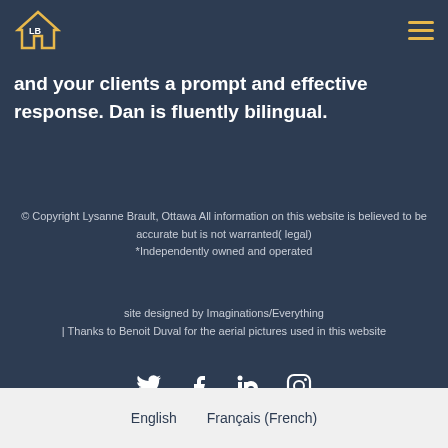LB HOME.ca
and your clients a prompt and effective response. Dan is fluently bilingual.
© Copyright Lysanne Brault, Ottawa All information on this website is believed to be accurate but is not warranted( legal) *Independently owned and operated
site designed by Imaginations/Everything | Thanks to Benoit Duval for the aerial pictures used in this website
[Figure (other): Social media icons: Twitter, Facebook, LinkedIn, Instagram]
English   Français (French)